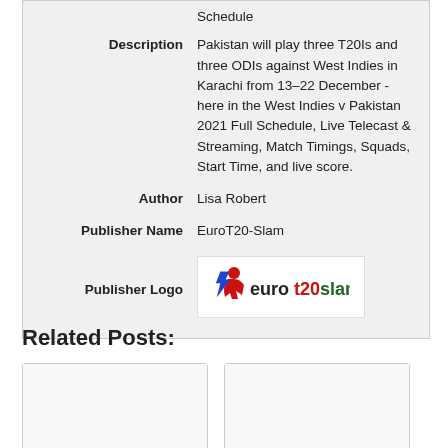| Field | Value |
| --- | --- |
|  | Schedule |
| Description | Pakistan will play three T20Is and three ODIs against West Indies in Karachi from 13–22 December - here in the West Indies v Pakistan 2021 Full Schedule, Live Telecast & Streaming, Match Timings, Squads, Start Time, and live score. |
| Author | Lisa Robert |
| Publisher Name | EuroT20-Slam |
| Publisher Logo | [eurot20slam logo] |
Related Posts:
[Figure (screenshot): Card thumbnail for PAK vs SL Test Series]
PAK vs SL Test Series
[Figure (screenshot): Card thumbnail for T10 League 2022 Live]
T10 League 2022 Live